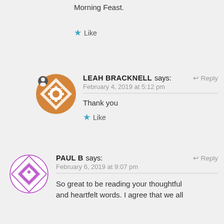Morning Feast.
★ Like
LEAH BRACKNELL says: ↵ Reply
February 4, 2019 at 5:12 pm
Thank you
★ Like
PAUL B says: ↵ Reply
February 6, 2019 at 9:07 pm
So great to be reading your thoughtful and heartfelt words. I agree that we all